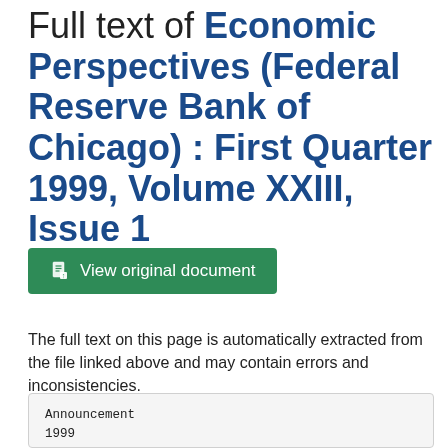Full text of Economic Perspectives (Federal Reserve Bank of Chicago) : First Quarter 1999, Volume XXIII, Issue 1
[Figure (other): Green button labeled 'View original document' with a document icon]
The full text on this page is automatically extracted from the file linked above and may contain errors and inconsistencies.
Announcement
1999
ank Structure
& Competition
Conference